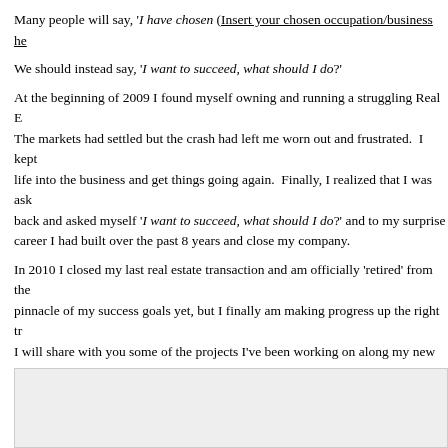Many people will say, 'I have chosen (Insert your chosen occupation/business he…
We should instead say, 'I want to succeed, what should I do?'
At the beginning of 2009 I found myself owning and running a struggling Real E… The markets had settled but the crash had left me worn out and frustrated. I kept… life into the business and get things going again. Finally, I realized that I was ask… back and asked myself 'I want to succeed, what should I do?' and to my surprise… career I had built over the past 8 years and close my company.
In 2010 I closed my last real estate transaction and am officially 'retired' from the… pinnacle of my success goals yet, but I finally am making progress up the right tr… I will share with you some of the projects I've been working on along my new pa…
Every New Years Day my family and I go down to the beach and meet up with fr… watch the first sunset of the year. This year when we got to the beach the tide wa… remember seeing it. My wife I and took the kids out on the rocky tide pools of L… sea stars, sea urchins, mussels, crabs and all sorts of ocean animal life. I took the… reminded of another thing Seth Godin said,
“Just because the tide is out doesn’t mean there is any less water in the ocean.”
[Figure (photo): Gray placeholder image box at the bottom of the page]